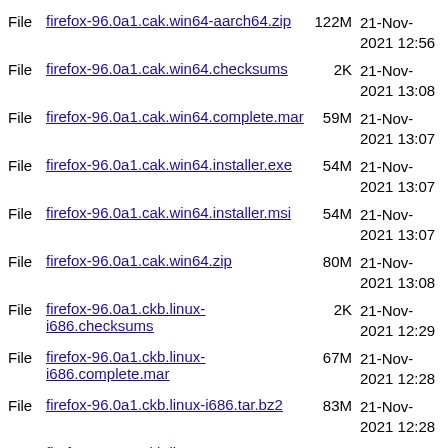File firefox-96.0a1.cak.win64-aarch64.zip 122M 21-Nov-2021 12:56
File firefox-96.0a1.cak.win64.checksums 2K 21-Nov-2021 13:08
File firefox-96.0a1.cak.win64.complete.mar 59M 21-Nov-2021 13:07
File firefox-96.0a1.cak.win64.installer.exe 54M 21-Nov-2021 13:07
File firefox-96.0a1.cak.win64.installer.msi 54M 21-Nov-2021 13:07
File firefox-96.0a1.cak.win64.zip 80M 21-Nov-2021 13:08
File firefox-96.0a1.ckb.linux-i686.checksums 2K 21-Nov-2021 12:29
File firefox-96.0a1.ckb.linux-i686.complete.mar 67M 21-Nov-2021 12:28
File firefox-96.0a1.ckb.linux-i686.tar.bz2 83M 21-Nov-2021 12:28
File firefox-96.0a1.ckb.linux-i686.tar.bz2.asc 833 21-Nov-2021 12:28
File firefox-96.0a1.ckb.linux-x86_64.checksums 2K 21-Nov-2021 12:36